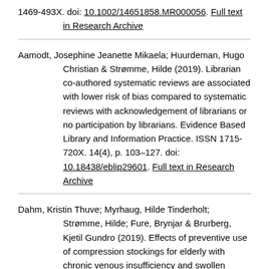1469-493X. doi: 10.1002/14651858.MR000056. Full text in Research Archive
Aamodt, Josephine Jeanette Mikaela; Huurdeman, Hugo Christian & Strømme, Hilde (2019). Librarian co-authored systematic reviews are associated with lower risk of bias compared to systematic reviews with acknowledgement of librarians or no participation by librarians. Evidence Based Library and Information Practice. ISSN 1715-720X. 14(4), p. 103–127. doi: 10.18438/eblip29601. Full text in Research Archive
Dahm, Kristin Thuve; Myrhaug, Hilde Tinderholt; Strømme, Hilde; Fure, Brynjar & Brurberg, Kjetil Gundro (2019). Effects of preventive use of compression stockings for elderly with chronic venous insufficiency and swollen legs…